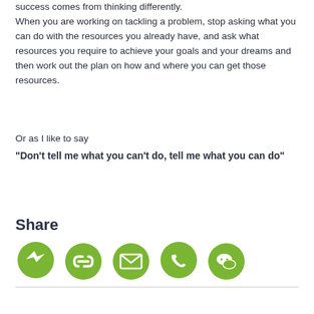success comes from thinking differently. When you are working on tackling a problem, stop asking what you can do with the resources you already have, and ask what resources you require to achieve your goals and your dreams and then work out the plan on how and where you can get those resources.
Or as I like to say
“Don’t tell me what you can’t do, tell me what you can do”
Share
[Figure (infographic): Row of five green circular social sharing icons: Messenger, link/chain, email/envelope, WhatsApp phone, WeChat]